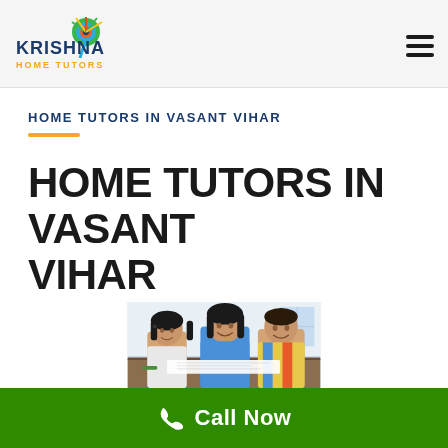[Figure (logo): Krishna Home Tutors logo with peacock graphic and text]
HOME TUTORS IN VASANT VIHAR
HOME TUTORS IN VASANT VIHAR
[Figure (photo): A female tutor in blue shirt smiling and helping two young children study at a table]
Call Now